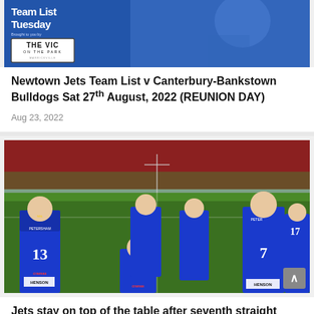[Figure (photo): Team List Tuesday banner with The Vic On The Park logo, rugby league player in blue and white Newtown Jets jersey]
Newtown Jets Team List v Canterbury-Bankstown Bulldogs Sat 27th August, 2022 (REUNION DAY)
Aug 23, 2022
[Figure (photo): Newtown Jets rugby league players in blue and white jerseys gathered on the field at a stadium, player numbers 13, 12, 7 visible, aromax sponsor on jerseys]
Jets stay on top of the table after seventh straight